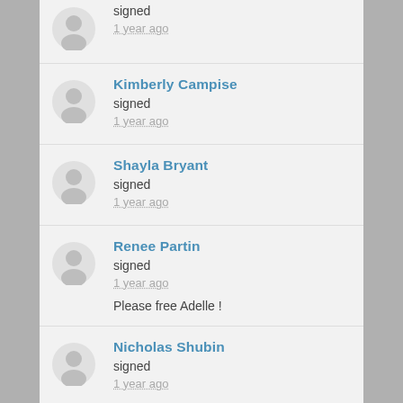signed
1 year ago
Kimberly Campise
signed
1 year ago
Shayla Bryant
signed
1 year ago
Renee Partin
signed
1 year ago
Please free Adelle !
Nicholas Shubin
signed
1 year ago